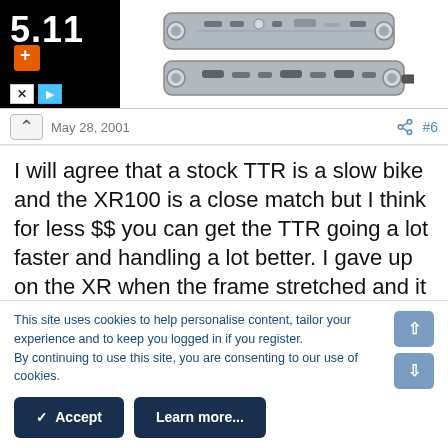[Figure (screenshot): Advertisement banner: 5.11 logo on black background on the left, multi-tool product image on the right]
May 28, 2001   #6
I will agree that a stock TTR is a slow bike and the XR100 is a close match but I think for less $$ you can get the TTR going a lot faster and handling a lot better. I gave up on the XR when the frame stretched and it was near impossible to get the engine out of the frame and the welds on the shock mount started cracking. That was after 6 months of MX. The TTR goes harder, is faster and overall was
This site uses cookies to help personalise content, tailor your experience and to keep you logged in if you register.
By continuing to use this site, you are consenting to our use of cookies.
✓  Accept    Learn more...